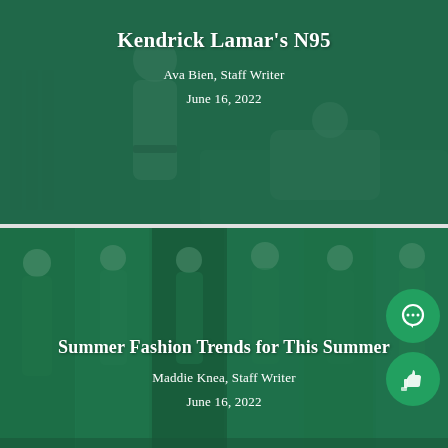[Figure (photo): Green-tinted photo of people in a bedroom scene, used as background for article card about Kendrick Lamar's N95]
Kendrick Lamar's N95
Ava Bien, Staff Writer
June 16, 2022
[Figure (photo): Green-tinted collage of fashion model photos in strips, used as background for Summer Fashion Trends article card]
Summer Fashion Trends for This Summer
Maddie Knea, Staff Writer
June 16, 2022